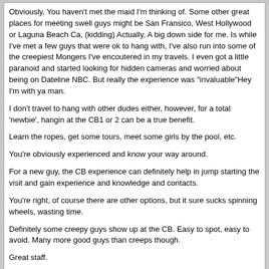Obviously, You haven't met the maid I'm thinking of. Some other great places for meeting swell guys might be San Fransico, West Hollywood or Laguna Beach Ca, (kidding) Actually, A big down side for me. Is while I've met a few guys that were ok to hang with, I've also run into some of the creepiest Mongers I've encoutered in my travels. I even got a little paranoid and started looking for hidden cameras and worried about being on Dateline NBC. But really the experience was "invaluable"Hey I'm with ya man.

I don't travel to hang with other dudes either, however, for a total 'newbie', hangin at the CB1 or 2 can be a true benefit.

Learn the ropes, get some tours, meet some girls by the pool, etc.

You're obviously experienced and know your way around.

For a new guy, the CB experience can definitely help in jump starting the visit and gain experience and knowledge and contacts.

You're right, of course there are other options, but it sure sucks spinning wheels, wasting time.

Definitely some creepy guys show up at the CB. Easy to spot, easy to avoid. Many more good guys than creeps though.

Great staff.

BTW, no I haven't met the hot maid yet, and I still wouldn't stay, or recommend staying at another place just in case there was a hot maid there too.

Ta bom.
Ricker
04-01-12, 17:58
How far is CB2 from CB2.CB1 to CB2, about a 5 to 10 minute walk.

Easier walking downhill from CB2 to CB1 though.